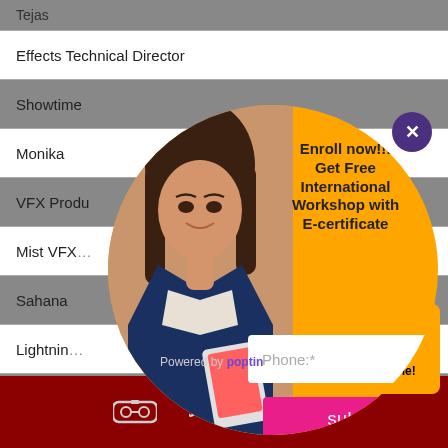| Tejas |
| Effects Technical Director |
| Showtime |
| Monika |
| VFX Produ… |
| Mist VFX… |
| Sahana… |
| Lightnin… |
| ReDefine |
| Hemalatha |
| Production Coordinator |
[Figure (infographic): Popup modal with orange circle background, woman photo on left, text 'Enroll now!!! Get Free International Workshop with E-certificate', phone input field, submit button, and close X button. Powered by poptin branding shown.]
[Figure (infographic): Dark red bottom navigation bar with VR glasses icon, phone icon, WhatsApp icon, and location pin icon. Orange chat widget in bottom right saying 'We're Online!' with speech bubble icon.]